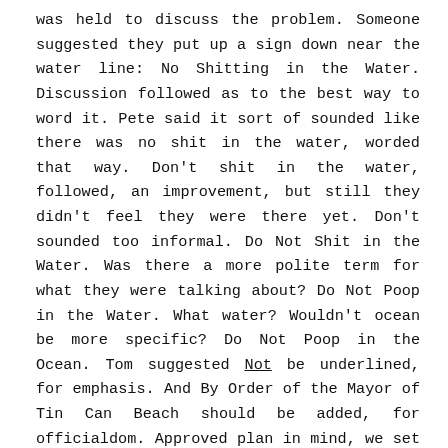was held to discuss the problem. Someone suggested they put up a sign down near the water line: No Shitting in the Water. Discussion followed as to the best way to word it. Pete said it sort of sounded like there was no shit in the water, worded that way. Don't shit in the water, followed, an improvement, but still they didn't feel they were there yet. Don't sounded too informal. Do Not Shit in the Water. Was there a more polite term for what they were talking about? Do Not Poop in the Water. What water? Wouldn't ocean be more specific? Do Not Poop in the Ocean. Tom suggested Not be underlined, for emphasis. And By Order of the Mayor of Tin Can Beach should be added, for officialdom. Approved plan in mind, we set about constructing the sign, and when it was finished, we walked in a group down to the water to erect the sign on the berm up from the high tide water line, on perpendicular line to the shack up on the beach. Everyone stood back to admire and critique the sign and saw that it